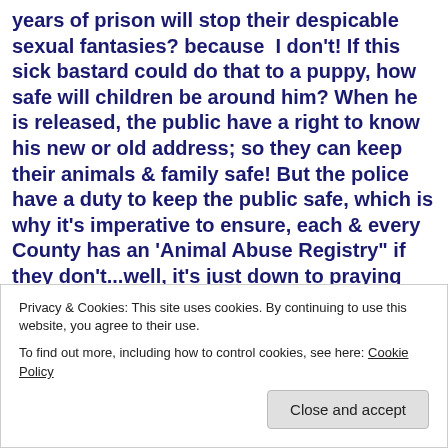years of prison will stop their despicable sexual fantasies? because  I don't! If this sick bastard could do that to a puppy, how safe will children be around him? When he is released, the public have a right to know his new or old address; so they can keep their animals & family safe! But the police have a duty to keep the public safe, which is why it's imperative to ensure, each & every County has an 'Animal Abuse Registry" if they don't...well, it's just down to praying said offender won't repeat their sickening fetishes; sadly it's all too common for abusers to re
Privacy & Cookies: This site uses cookies. By continuing to use this website, you agree to their use.
To find out more, including how to control cookies, see here: Cookie Policy